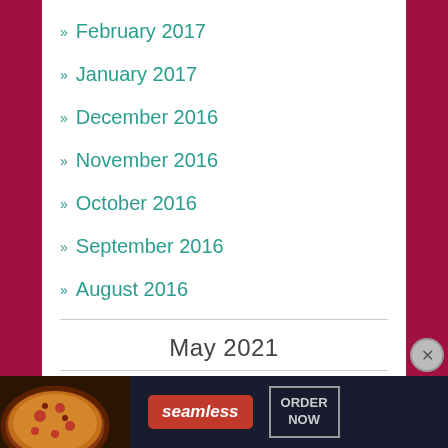» February 2017
» January 2017
» December 2016
» November 2016
» October 2016
» September 2016
» August 2016
May 2021
| M | T | W | T | F | S | S |
| --- | --- | --- | --- | --- | --- | --- |
Advertisements
[Figure (advertisement): Seamless food delivery advertisement with pizza image, Seamless logo in red, and ORDER NOW button]